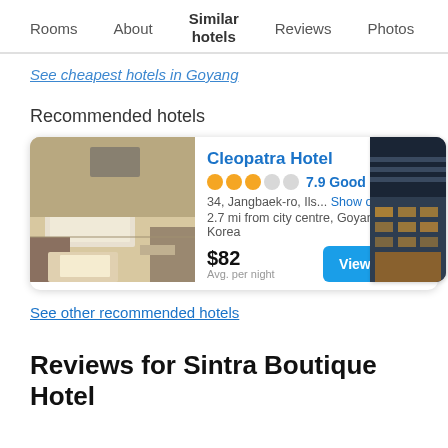Rooms | About | Similar hotels | Reviews | Photos | Loca…
See cheapest hotels in Goyang
Recommended hotels
[Figure (photo): Hotel room interior photo (Cleopatra Hotel) and partial night exterior of another hotel building]
Cleopatra Hotel
★★★☆☆ 7.9 Good
34, Jangbaek-ro, Ils... Show on map
2.7 mi from city centre, Goyang, South Korea
$82
Avg. per night
[View Deals]
See other recommended hotels
Reviews for Sintra Boutique Hotel